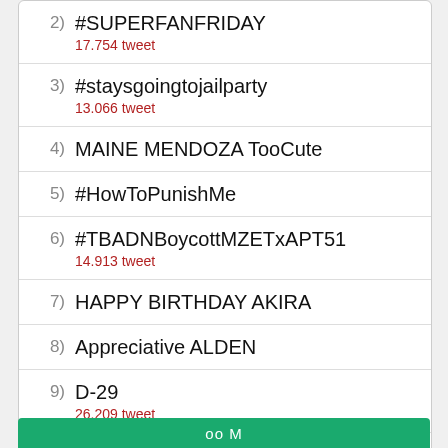2) #SUPERFANFRIDAY — 17.754 tweet
3) #staysgoingtojailparty — 13.066 tweet
4) MAINE MENDOZA TooCute
5) #HowToPunishMe
6) #TBADNBoycottMZETxAPT51 — 14.913 tweet
7) HAPPY BIRTHDAY AKIRA
8) Appreciative ALDEN
9) D-29 — 26.209 tweet
10) iOS 14.5 — 34.264 tweet